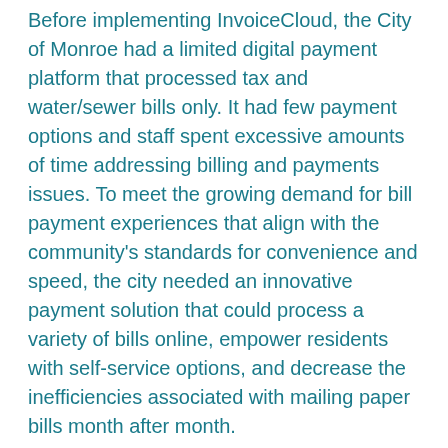Before implementing InvoiceCloud, the City of Monroe had a limited digital payment platform that processed tax and water/sewer bills only. It had few payment options and staff spent excessive amounts of time addressing billing and payments issues. To meet the growing demand for bill payment experiences that align with the community's standards for convenience and speed, the city needed an innovative payment solution that could process a variety of bills online, empower residents with self-service options, and decrease the inefficiencies associated with mailing paper bills month after month.
“For years, paying bills in-person or by check was the status quo, but there’s been a shift and